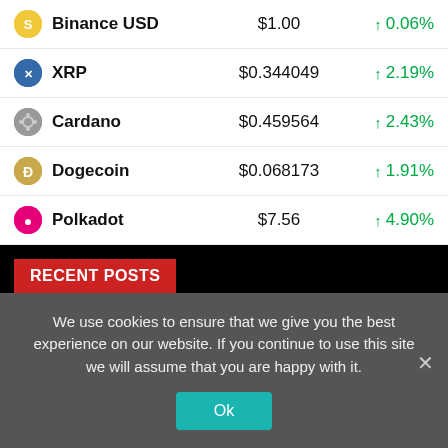| Coin | Price | Change |
| --- | --- | --- |
| Binance USD | $1.00 | ↑ 0.06% |
| XRP | $0.344049 | ↑ 2.19% |
| Cardano | $0.459564 | ↑ 2.43% |
| Dogecoin | $0.068173 | ↑ 1.91% |
| Polkadot | $7.56 | ↑ 4.90% |
RECENT POSTS
Polkadot (DOT): Short Sellers Should Know This to Make Profit
Explore COSMOS with 1xBit
We use cookies to ensure that we give you the best experience on our website. If you continue to use this site we will assume that you are happy with it.